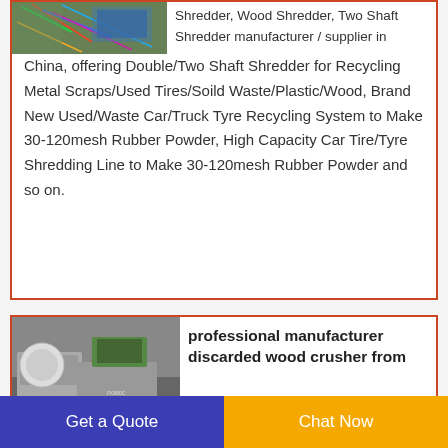[Figure (photo): Photo of shredder machinery with colorful wires/material]
Shredder, Wood Shredder, Two Shaft Shredder manufacturer / supplier in China, offering Double/Two Shaft Shredder for Recycling Metal Scraps/Used Tires/Soild Waste/Plastic/Wood, Brand New Used/Waste Car/Truck Tyre Recycling System to Make 30-120mesh Rubber Powder, High Capacity Car Tire/Tyre Shredding Line to Make 30-120mesh Rubber Powder and so on.
[Figure (photo): Photo of industrial wood crusher machine with red drum]
professional manufacturer discarded wood crusher from
TCM SHREDDER